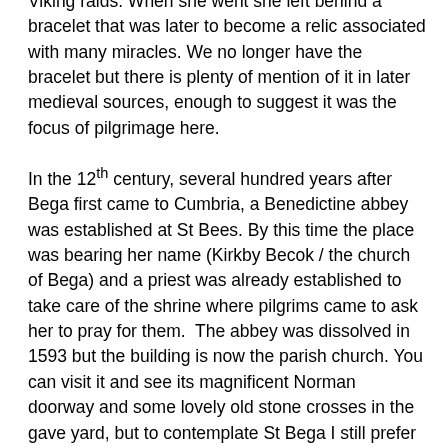home. Medieval sources tell us that she lived here as an anchoress, eventually fleeing to escape Viking raids. When she went she left behind a bracelet that was later to become a relic associated with many miracles. We no longer have the bracelet but there is plenty of mention of it in later medieval sources, enough to suggest it was the focus of pilgrimage here.
In the 12th century, several hundred years after Bega first came to Cumbria, a Benedictine abbey was established at St Bees. By this time the place was bearing her name (Kirkby Becok / the church of Bega) and a priest was already established to take care of the shrine where pilgrims came to ask her to pray for them. The abbey was dissolved in 1593 but the building is now the parish church. You can visit it and see its magnificent Norman doorway and some lovely old stone crosses in the gave yard, but to contemplate St Bega I still prefer to sit on the beach looking out to sea for a sense of who this solitary female